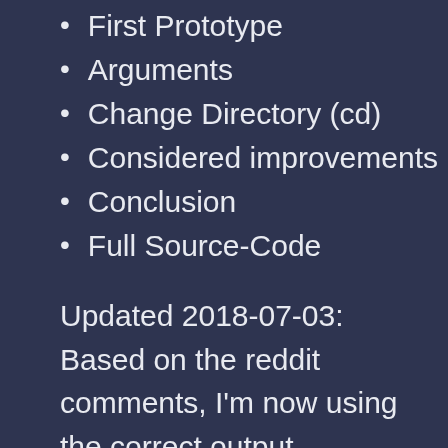First Prototype
Arguments
Change Directory (cd)
Considered improvements
Conclusion
Full Source-Code
Updated 2018-07-03: Based on the reddit comments, I'm now using the correct output devices.
Updated 2019-03-21: Here you can find my Rust port of the shell